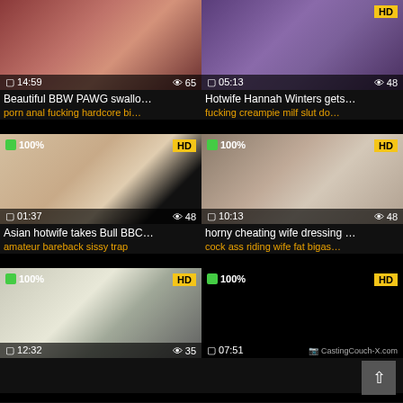[Figure (screenshot): Video thumbnail grid showing 6 adult video cards with thumbnails, HD badges, view counts, timestamps, titles and tags]
14:59 | 65 views | Beautiful BBW PAWG swallo...
porn anal fucking hardcore bi...
05:13 | 48 views | Hotwife Hannah Winters gets...
fucking creampie milf slut do...
100% | 01:37 | 48 views | Asian hotwife takes Bull BBC...
amateur bareback sissy trap
100% | 10:13 | 48 views | horny cheating wife dressing ...
cock ass riding wife fat bigas...
100% | 12:32 | 35 views
100% | 07:51